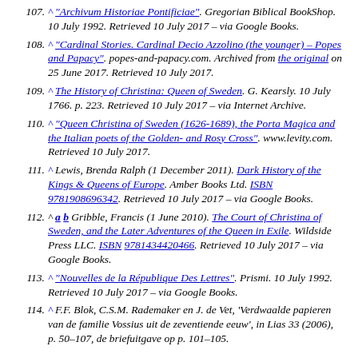107. ^ "Archivum Historiae Pontificiae". Gregorian Biblical BookShop. 10 July 1992. Retrieved 10 July 2017 – via Google Books.
108. ^ "Cardinal Stories. Cardinal Decio Azzolino (the younger) – Popes and Papacy". popes-and-papacy.com. Archived from the original on 25 June 2017. Retrieved 10 July 2017.
109. ^ The History of Christina: Queen of Sweden. G. Kearsly. 10 July 1766. p. 223. Retrieved 10 July 2017 – via Internet Archive.
110. ^ "Queen Christina of Sweden (1626-1689), the Porta Magica and the Italian poets of the Golden- and Rosy Cross". www.levity.com. Retrieved 10 July 2017.
111. ^ Lewis, Brenda Ralph (1 December 2011). Dark History of the Kings & Queens of Europe. Amber Books Ltd. ISBN 9781908696342. Retrieved 10 July 2017 – via Google Books.
112. ^ a b Gribble, Francis (1 June 2010). The Court of Christina of Sweden, and the Later Adventures of the Queen in Exile. Wildside Press LLC. ISBN 9781434420466. Retrieved 10 July 2017 – via Google Books.
113. ^ "Nouvelles de la République Des Lettres". Prismi. 10 July 1992. Retrieved 10 July 2017 – via Google Books.
114. ^ F.F. Blok, C.S.M. Rademaker en J. de Vet, 'Verdwaalde papieren van de familie Vossius uit de zeventiende eeuw', in Lias 33 (2006), p. 50–107, de briefuitgave op p. 101–105.